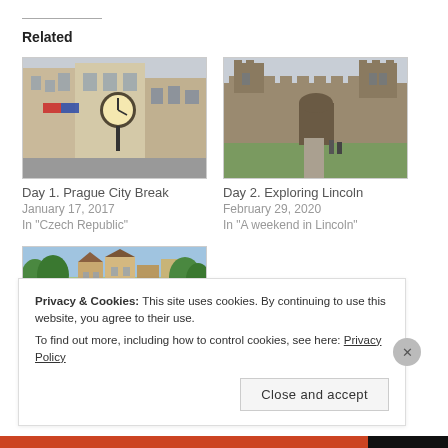Related
[Figure (photo): A street-level photo of Prague showing European buildings and a large ornate clock mounted on a building facade.]
Day 1. Prague City Break
January 17, 2017
In "Czech Republic"
[Figure (photo): A photo of Lincoln Cathedral or castle with stone walls, towers, and green lawn, with two people walking on a path.]
Day 2. Exploring Lincoln
February 29, 2020
In "A weekend in Lincoln"
[Figure (photo): A partial photo of a town with a bridge and colourful buildings surrounded by trees.]
Privacy & Cookies: This site uses cookies. By continuing to use this website, you agree to their use.
To find out more, including how to control cookies, see here: Privacy Policy
Close and accept